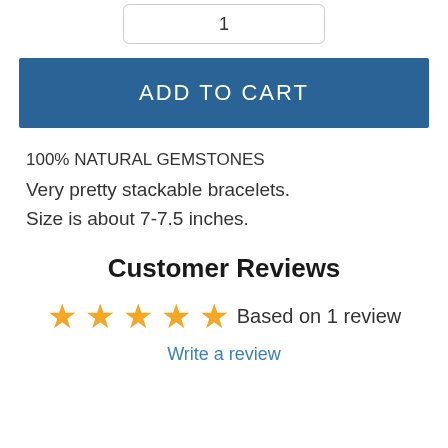1
ADD TO CART
100% NATURAL GEMSTONES
Very pretty stackable bracelets.
Size is about 7-7.5 inches.
Customer Reviews
★★★★★ Based on 1 review
Write a review